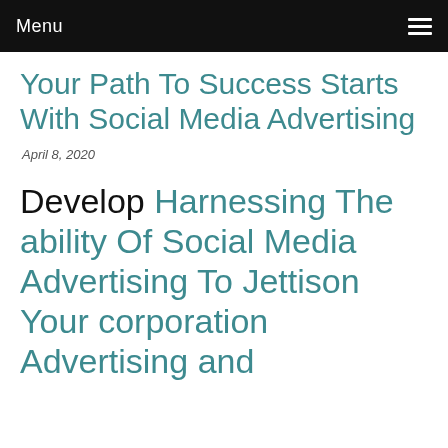Menu
Your Path To Success Starts With Social Media Advertising
April 8, 2020
Develop Harnessing The ability Of Social Media Advertising To Jettison Your corporation Advertising and